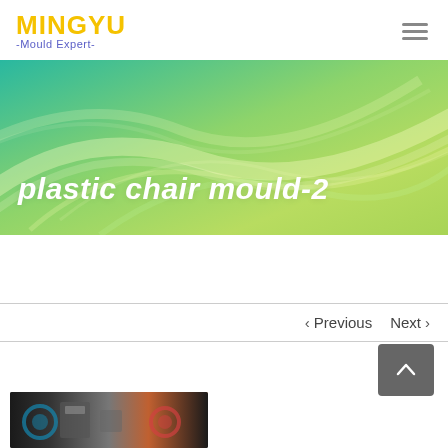MINGYU -Mould Expert-
[Figure (illustration): Green teal banner background with flowing light streaks/waves, gradient from teal to lime green]
plastic chair mould-2
< Previous   Next >
[Figure (photo): Industrial mould workshop photo showing equipment and machinery]